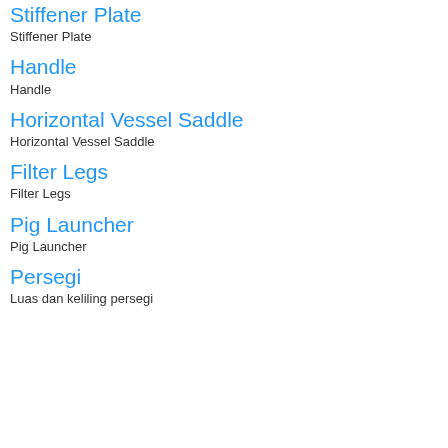Stiffener Plate
Stiffener Plate
Handle
Handle
Horizontal Vessel Saddle
Horizontal Vessel Saddle
Filter Legs
Filter Legs
Pig Launcher
Pig Launcher
Persegi
Luas dan keliling persegi